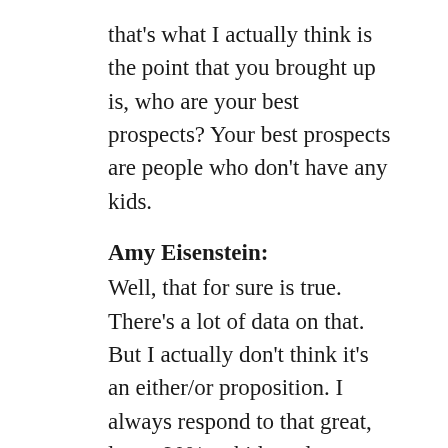that's what I actually think is the point that you brought up is, who are your best prospects? Your best prospects are people who don't have any kids.
Amy Eisenstein:
Well, that for sure is true. There's a lot of data on that. But I actually don't think it's an either/or proposition. I always respond to that great, leave 90% to kids and grandkids. And then think about your life in sort of a wheel, a chart, right? A pie chart, and what are your priorities? Your priorities are of course, our families. So leave 90% family, and then maybe you want to leave 3% to your